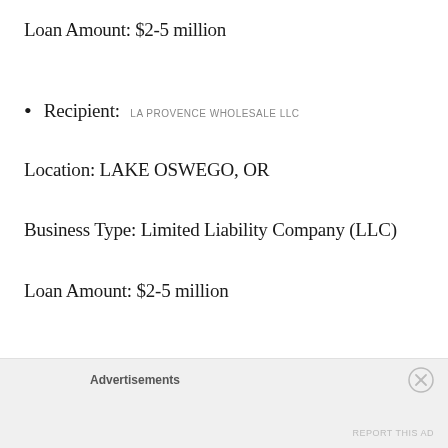Loan Amount: $2-5 million
Recipient: LA PROVENCE WHOLESALE LLC
Location: LAKE OSWEGO, OR
Business Type: Limited Liability Company (LLC)
Loan Amount: $2-5 million
Advertisements